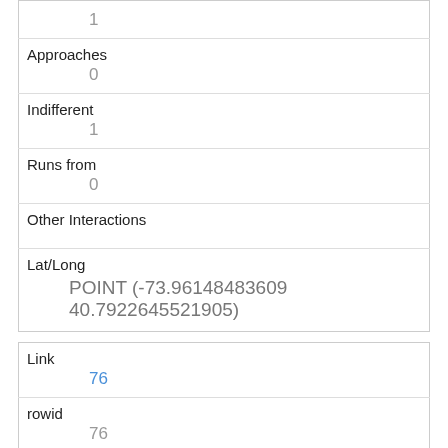| 1 |
| Approaches | 0 |
| Indifferent | 1 |
| Runs from | 0 |
| Other Interactions |  |
| Lat/Long | POINT (-73.96148483609 40.7922645521905) |
| Link | 76 |
| rowid | 76 |
| longitude | -73.9530035564643 |
| latitude | 40.792182245761296 |